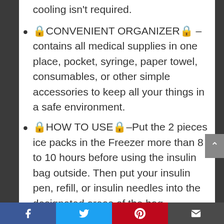cooling isn't required.
🔒CONVENIENT ORGANIZER🔒 – contains all medical supplies in one place, pocket, syringe, paper towel, consumables, or other simple accessories to keep all your things in a safe environment.
🔒HOW TO USE🔒–Put the 2 pieces ice packs in the Freezer more than 8 to 10 hours before using the insulin bag outside. Then put your insulin pen, refill, or insulin needles into the designated areas of the bag.